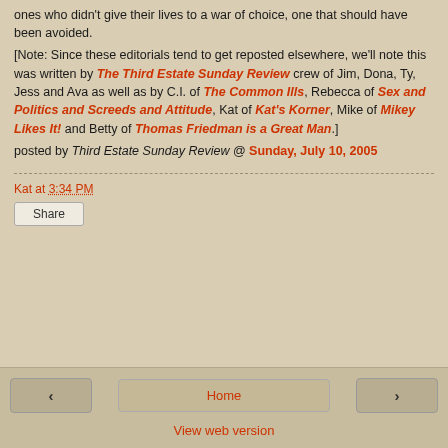ones who didn't give their lives to a war of choice, one that should have been avoided.
[Note: Since these editorials tend to get reposted elsewhere, we'll note this was written by The Third Estate Sunday Review crew of Jim, Dona, Ty, Jess and Ava as well as by C.I. of The Common Ills, Rebecca of Sex and Politics and Screeds and Attitude, Kat of Kat's Korner, Mike of Mikey Likes It! and Betty of Thomas Friedman is a Great Man.]
posted by Third Estate Sunday Review @ Sunday, July 10, 2005
Kat at 3:34 PM
Share
< Home > View web version